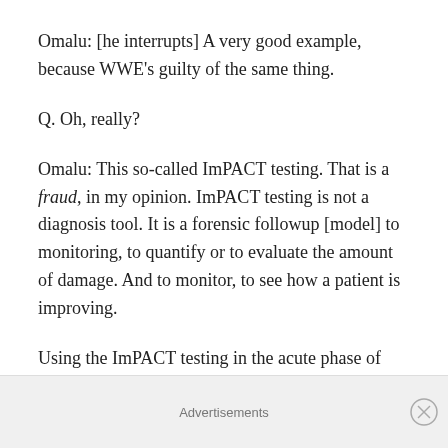Omalu: [he interrupts] A very good example, because WWE's guilty of the same thing.
Q. Oh, really?
Omalu: This so-called ImPACT testing. That is a fraud, in my opinion. ImPACT testing is not a diagnosis tool. It is a forensic followup [model] to monitoring, to quantify or to evaluate the amount of damage. And to monitor, to see how a patient is improving.
Using the ImPACT testing in the acute phase of injury, to determine the amount of damage, actually makes the
Advertisements